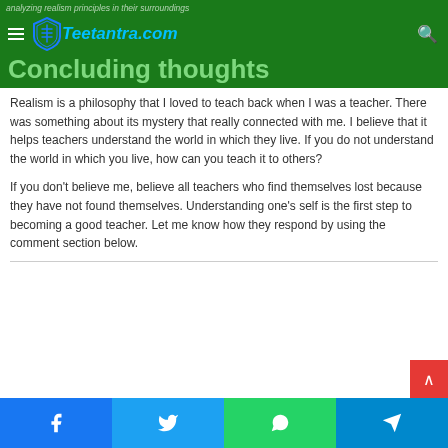analyzing realism principles in their surroundings
[Figure (logo): Teetantra.com logo with shield icon]
Concluding thoughts
Realism is a philosophy that I loved to teach back when I was a teacher. There was something about its mystery that really connected with me. I believe that it helps teachers understand the world in which they live. If you do not understand the world in which you live, how can you teach it to others?
If you don't believe me, believe all teachers who find themselves lost because they have not found themselves. Understanding one's self is the first step to becoming a good teacher. Let me know how they respond by using the comment section below.
Facebook Twitter WhatsApp Telegram